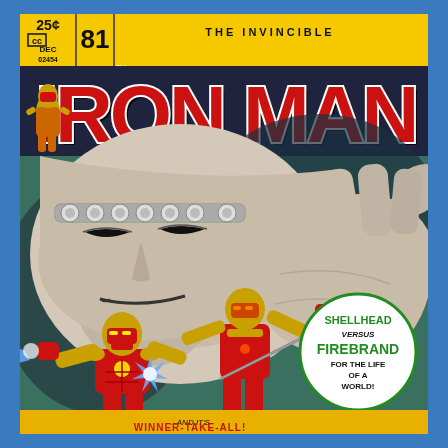[Figure (illustration): Comic book cover of The Invincible Iron Man #81, December issue, priced 25 cents. The cover features a giant villain (likely Mandarin) in the background with a decorated headband, shown from the torso up, with a massive outstretched hand. Iron Man in his red and yellow armor is shown smaller in the foreground grappling with the villain. The title 'THE INVINCIBLE IRON MAN' appears at the top in large yellow and red letters. A circular callout reads 'SHELLHEAD VERSUS FIREBRAND FOR THE LIFE OF A WORLD!' and a banner reads '...AND IT'S WINNER-TAKE-ALL!']